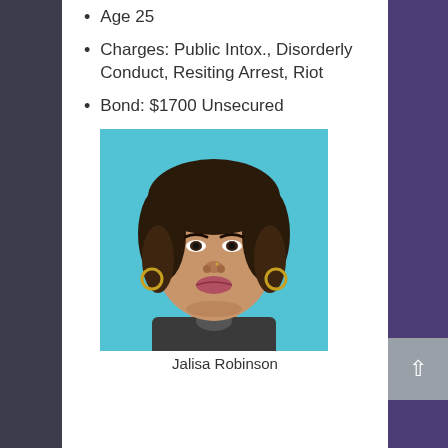Age 25
Charges: Public Intox., Disorderly Conduct, Resiting Arrest, Riot
Bond: $1700 Unsecured
[Figure (photo): Mugshot / ID photo of Jalisa Robinson, a young woman with curly hair and hoop earrings, against a blue background]
Jalisa Robinson